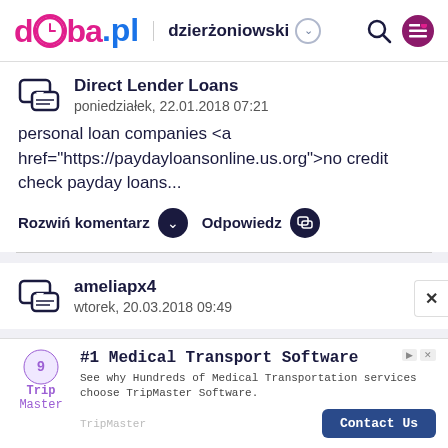doba.pl | dzierżoniowski
Direct Lender Loans
poniedziałek, 22.01.2018 07:21
personal loan companies <a href="https://paydayloansonline.us.org">no credit check payday loans...
Rozwiń komentarz   Odpowiedz
ameliapx4
wtorek, 20.03.2018 09:49
[Figure (screenshot): TripMaster advertisement banner: #1 Medical Transport Software. See why Hundreds of Medical Transportation services choose TripMaster Software. Contact Us button.]